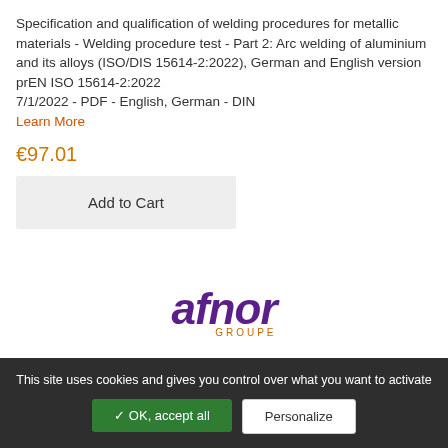Specification and qualification of welding procedures for metallic materials - Welding procedure test - Part 2: Arc welding of aluminium and its alloys (ISO/DIS 15614-2:2022), German and English version prEN ISO 15614-2:2022
7/1/2022 - PDF - English, German - DIN
Learn More
€97.01
Add to Cart
[Figure (logo): AFNOR Groupe logo in purple and orange]
This site uses cookies and gives you control over what you want to activate
✓ OK, accept all
Personalize